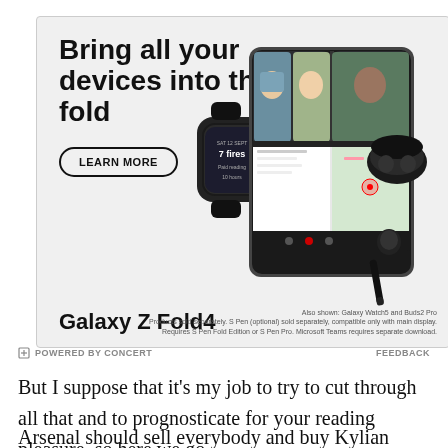[Figure (advertisement): Samsung Galaxy Z Fold4 advertisement. Shows bold headline 'Bring all your devices into the fold', a 'LEARN MORE' button, product images of Samsung Galaxy Z Fold4 (foldable phone open with video call), Galaxy Watch5 (smartwatch), and Buds2 Pro (earbuds with case and stylus). Bottom shows product name 'Galaxy Z Fold4' and small footnote text. Also shown: Galaxy Watch5 and Buds2 Pro.]
POWERED BY CONCERT   FEEDBACK
But I suppose that it's my job to try to cut through all that and to prognosticate for your reading pleasure, so here we go.
Arsenal should sell everybody and buy Kylian Mbappe.